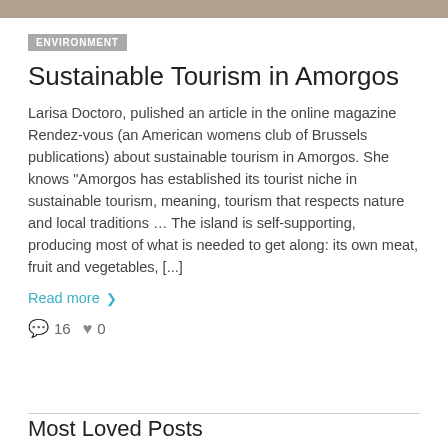[Figure (photo): Top cropped photo strip at top of page]
ENVIRONMENT
Sustainable Tourism in Amorgos
Larisa Doctoro, pulished an article in the online magazine Rendez-vous (an American womens club of Brussels publications) about sustainable tourism in Amorgos. She knows "Amorgos has established its tourist niche in sustainable tourism, meaning, tourism that respects nature and local traditions … The island is self-supporting, producing most of what is needed to get along: its own meat, fruit and vegetables, [...]
Read more ❯
💬 16 ♥ 0
Most Loved Posts